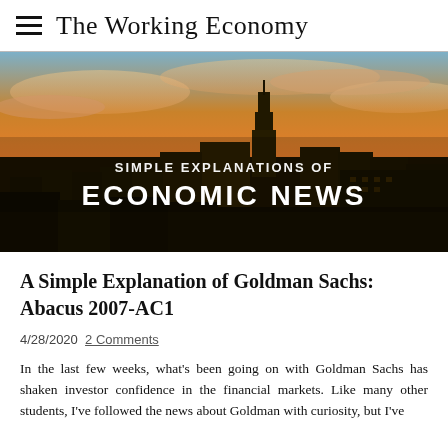The Working Economy
[Figure (photo): Aerial cityscape of New York City skyline at sunset with orange sky, with text overlay reading 'SIMPLE EXPLANATIONS OF ECONOMIC NEWS']
A Simple Explanation of Goldman Sachs: Abacus 2007-AC1
4/28/2020  2 Comments
In the last few weeks, what's been going on with Goldman Sachs has shaken investor confidence in the financial markets. Like many other students, I've followed the news about Goldman with curiosity, but I've